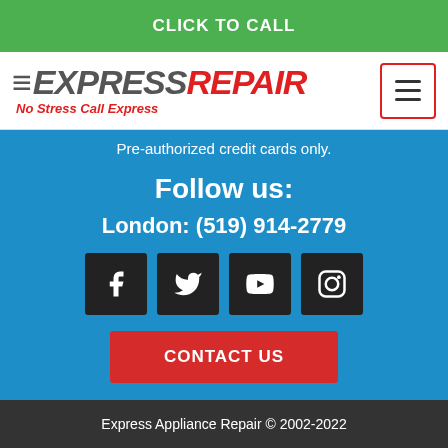CLICK TO CALL
[Figure (logo): Express Repair logo with tagline 'No Stress Call Express' and hamburger menu icon]
Pre-authorized credit cards only.
Follow us:
London: (519) 914-2779
[Figure (infographic): Social media icons: Facebook, Twitter, YouTube, Instagram on dark square backgrounds]
CONTACT US
Express Appliance Repair © 2002-2022